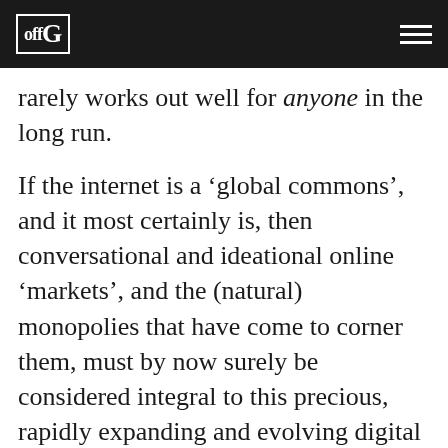offG
rarely works out well for anyone in the long run.
If the internet is a ‘global commons’, and it most certainly is, then conversational and ideational online ‘markets’, and the (natural) monopolies that have come to corner them, must by now surely be considered integral to this precious, rapidly expanding and evolving digital ecosystem; democratised digital assets in their own right. That being so, the next question has to be: are such increasingly pivotal e-tools and resources not worth protecting from pirate capture by a well-connected…